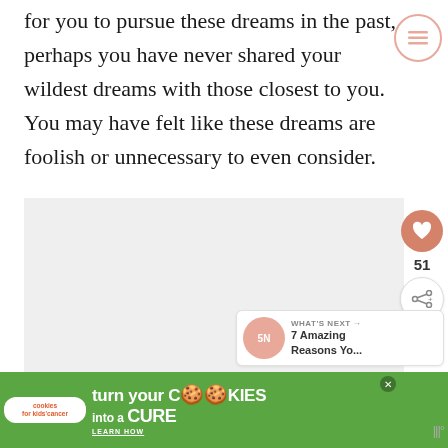for you to pursue these dreams in the past, perhaps you have never shared your wildest dreams with those closest to you. You may have felt like these dreams are foolish or unnecessary to even consider.
[Figure (screenshot): Gray placeholder image box with social action sidebar (heart/like button showing 51, share button) and a 'What's Next' recommendation panel showing '7 Amazing Reasons Yo...']
[Figure (screenshot): Advertisement banner for 'cookies for kids cancer' - green background with text 'turn your COOKIES into a CURE LEARN HOW']